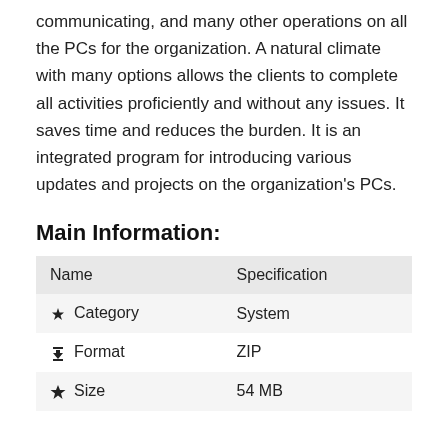communicating, and many other operations on all the PCs for the organization. A natural climate with many options allows the clients to complete all activities proficiently and without any issues. It saves time and reduces the burden. It is an integrated program for introducing various updates and projects on the organization's PCs.
Main Information:
| Name | Specification |
| --- | --- |
| Category | System |
| Format | ZIP |
| Size | 54 MB |